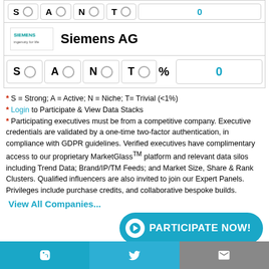[Figure (logo): Partial top strip with radio buttons S, A, N, T and a blue 0 value]
Siemens AG
| S | A | N | T | % | 0 |
| --- | --- | --- | --- | --- | --- |
* S = Strong; A = Active; N = Niche; T= Trivial (<1%)
* Login to Participate & View Data Stacks
* Participating executives must be from a competitive company. Executive credentials are validated by a one-time two-factor authentication, in compliance with GDPR guidelines. Verified executives have complimentary access to our proprietary MarketGlass™ platform and relevant data silos including Trend Data; Brand/IP/TM Feeds; and Market Size, Share & Rank Clusters. Qualified influencers are also invited to join our Expert Panels. Privileges include purchase credits, and collaborative bespoke builds.
View All Companies...
PARTICIPATE NOW!
in | Twitter | mail